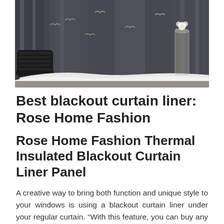[Figure (photo): Photo of dark gray curtains with bird pattern hanging in a room, with a woven basket on the left and a glass vase on the right, on a wooden floor with a white rug.]
Best blackout curtain liner: Rose Home Fashion
Rose Home Fashion Thermal Insulated Blackout Curtain Liner Panel
A creative way to bring both function and unique style to your windows is using a blackout curtain liner under your regular curtain. “With this feature, you can buy any curtains that fit your style and pair them with a blackout curtain or blackout curtain liner,” said Peters. This insulating blackout liner comes with tan canvas look base continuing machine washable and